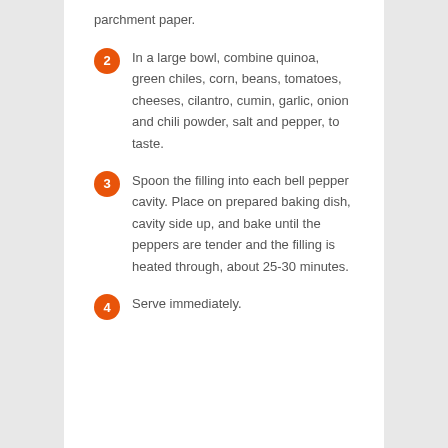parchment paper.
2. In a large bowl, combine quinoa, green chiles, corn, beans, tomatoes, cheeses, cilantro, cumin, garlic, onion and chili powder, salt and pepper, to taste.
3. Spoon the filling into each bell pepper cavity. Place on prepared baking dish, cavity side up, and bake until the peppers are tender and the filling is heated through, about 25-30 minutes.
4. Serve immediately.